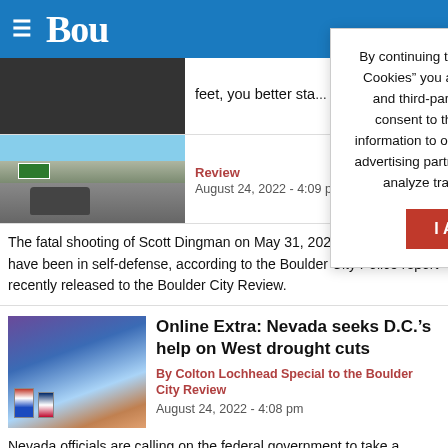Bou (Boulder City Review)
By continuing to browse or by clicking “I Accept Cookies” you agree to the storing of first-party and third-party cookies on your device and consent to the disclosure of your personal information to our third party service providers or advertising partners to optimize your experience, analyze traffic and personalize content.
I Accept Cookies
feet, you better sta…
Review
August 24, 2022 - 4:09 pm
The fatal shooting of Scott Dingman on May 31, 2021, appears to have been in self-defense, according to the Boulder City Police report recently released to the Boulder City Review.
Online Extra: Nevada seeks D.C.’s help on West drought cuts
By Colton Lochhead Special to the Boulder City Review
August 24, 2022 - 4:08 pm
Nevada officials are calling on the federal government to take a stronger role in the negotiations to address the Western drought